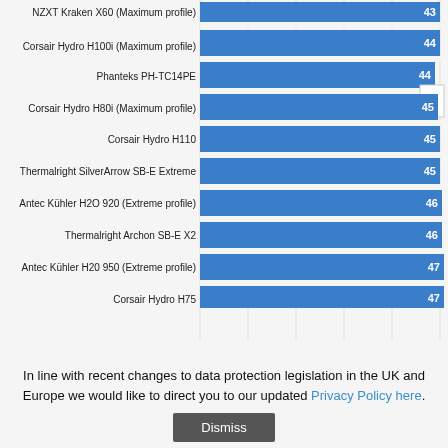[Figure (bar-chart): CPU Cooler Temperatures (°C)]
In line with recent changes to data protection legislation in the UK and Europe we would like to direct you to our updated Privacy Policy here.